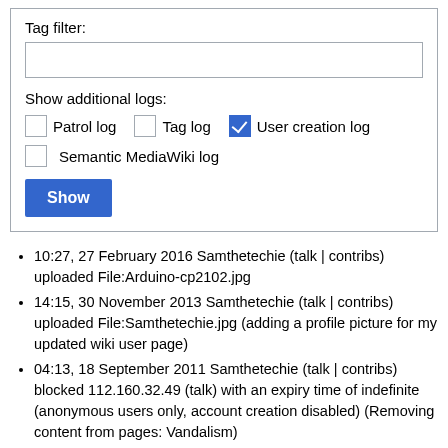Tag filter:
Show additional logs:
Patrol log
Tag log
User creation log
Semantic MediaWiki log
Show
10:27, 27 February 2016 Samthetechie (talk | contribs) uploaded File:Arduino-cp2102.jpg
14:15, 30 November 2013 Samthetechie (talk | contribs) uploaded File:Samthetechie.jpg (adding a profile picture for my updated wiki user page)
04:13, 18 September 2011 Samthetechie (talk | contribs) blocked 112.160.32.49 (talk) with an expiry time of indefinite (anonymous users only, account creation disabled) (Removing content from pages: Vandalism)
02:09, 18 September 2011 Samthetechie (talk | contribs)